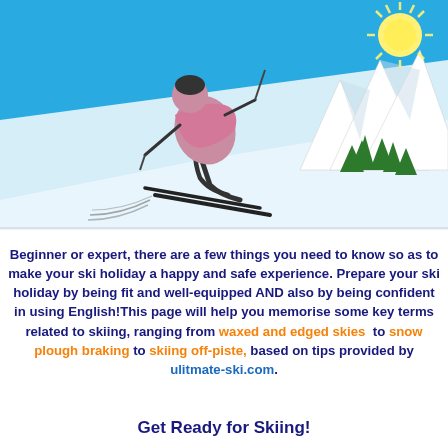[Figure (illustration): Illustration of a skier in a crouched racing position descending a snowy slope, with a bright sun with rays in the upper right, snow-capped mountains in the background, and green pine trees on the right side. Sky is blue, snow is light blue/white.]
Beginner or expert, there are a few things you need to know so as to make your ski holiday a happy and safe experience. Prepare your ski holiday by being fit and well-equipped AND also by being confident in using English!This page will help you memorise some key terms related to skiing, ranging from waxed and edged skies to snow plough braking to skiing off-piste, based on tips provided by ulitmate-ski.com.
Get Ready for Skiing!